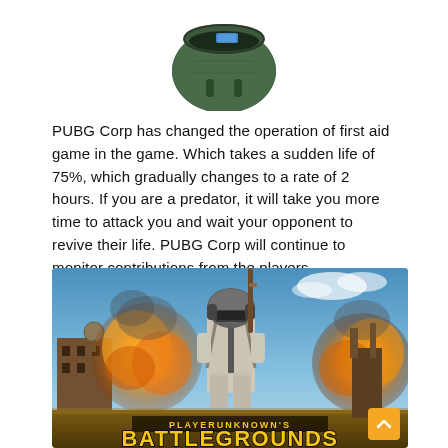[Figure (illustration): A dark green military-style backpack/bag viewed from above, partially open, with some items visible inside including what appears to be a blue item.]
PUBG Corp has changed the operation of first aid game in the game. Which takes a sudden life of 75%, which gradually changes to a rate of 2 hours. If you are a predator, it will take you more time to attack you and wait your opponent to revive their life. PUBG Corp will continue to monitor contributions from the players.
[Figure (screenshot): PLAYERUNKNOWN'S BATTLEGROUNDS promotional image showing a soldier in a helmet and tactical gear standing in front of a large explosion with orange and yellow flames. The game logo 'PLAYERUNKNOWN'S BATTLEGROUNDS' appears at the bottom in gold lettering.]